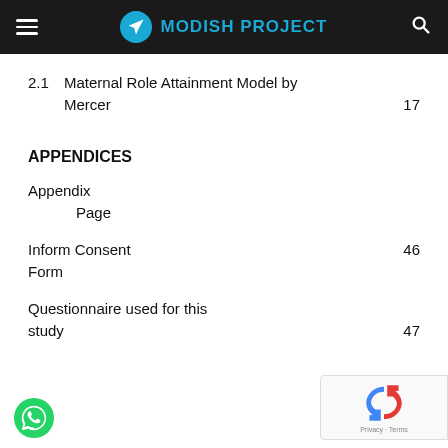MODISH PROJECT
2.1   Maternal Role Attainment Model by Mercer   17
APPENDICES
Appendix
        Page
Inform Consent Form   46
Questionnaire used for this study   47